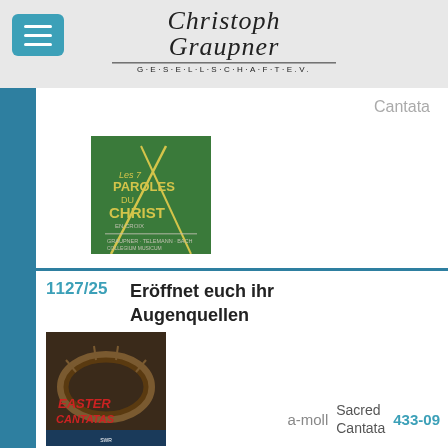Christoph Graupner Gesellschaft e.V.
Cantata
[Figure (photo): Green CD cover with Les 7 Paroles du Christ en Croix]
1127/25  Eröffnet euch ihr Augenquellen  a-moll  Sacred Cantata  433-09
[Figure (photo): Easter Cantatas CD cover with crown of thorns]
1127/31  Mein Gott warum hast du mich verlassen  G-Dur  Sacred Cantata  439-08